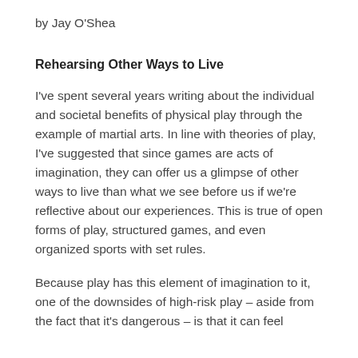by Jay O'Shea
Rehearsing Other Ways to Live
I've spent several years writing about the individual and societal benefits of physical play through the example of martial arts. In line with theories of play, I've suggested that since games are acts of imagination, they can offer us a glimpse of other ways to live than what we see before us if we're reflective about our experiences. This is true of open forms of play, structured games, and even organized sports with set rules.
Because play has this element of imagination to it, one of the downsides of high-risk play – aside from the fact that it's dangerous – is that it can feel